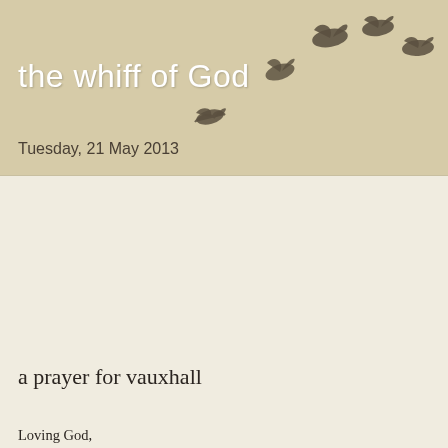[Figure (illustration): Silhouettes of birds in flight arranged in an arc pattern across the upper right of the header area, on a tan/beige background.]
the whiff of God
Tuesday, 21 May 2013
a prayer for vauxhall
Loving God,
We bring before you this bright and brilliant corner of London called Vauxhall.
Amidst the rumble of trains
and the belching tail pipes of traffic
lives a glorious and vibrant collection of people made in your image.
We thank you that they have come to call Vauxhall home,
and made their place in communities that are rich in diversity, culture and humanity.